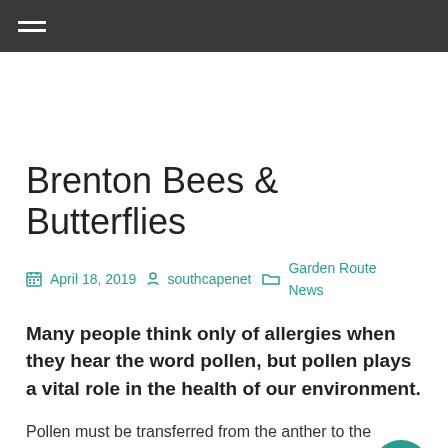Navigation menu header bar
Brenton Bees & Butterflies
April 18, 2019  southcapenet  Garden Route News
Many people think only of allergies when they hear the word pollen, but pollen plays a vital role in the health of our environment.
Pollen must be transferred from the anther to the stigma of the same or another flower for the plant to